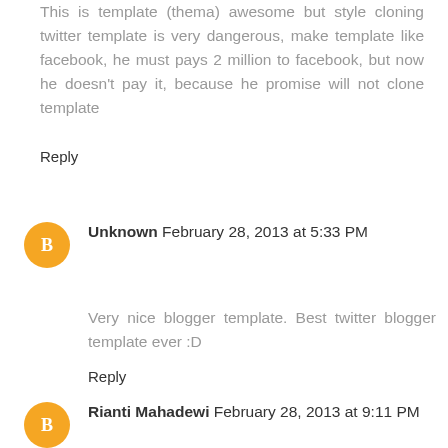This is template (thema) awesome but style cloning twitter template is very dangerous, make template like facebook, he must pays 2 million to facebook, but now he doesn't pay it, because he promise will not clone template
Reply
Unknown February 28, 2013 at 5:33 PM
Very nice blogger template. Best twitter blogger template ever :D
Reply
Rianti Mahadewi February 28, 2013 at 9:11 PM